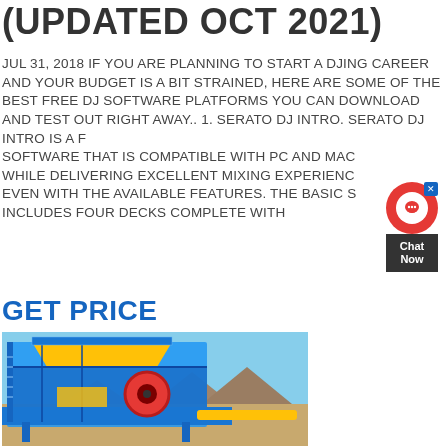(UPDATED OCT 2021)
JUL 31, 2018 IF YOU ARE PLANNING TO START A DJING CAREER AND YOUR BUDGET IS A BIT STRAINED, HERE ARE SOME OF THE BEST FREE DJ SOFTWARE PLATFORMS YOU CAN DOWNLOAD AND TEST OUT RIGHT AWAY.. 1. SERATO DJ INTRO. SERATO DJ INTRO IS A F... SOFTWARE THAT IS COMPATIBLE WITH PC AND MAC... WHILE DELIVERING EXCELLENT MIXING EXPERIENC... EVEN WITH THE AVAILABLE FEATURES. THE BASIC S... INCLUDES FOUR DECKS COMPLETE WITH
GET PRICE
[Figure (photo): Industrial mining/crushing machine (jaw crusher) in blue and yellow, mounted outdoors with desert landscape in background]